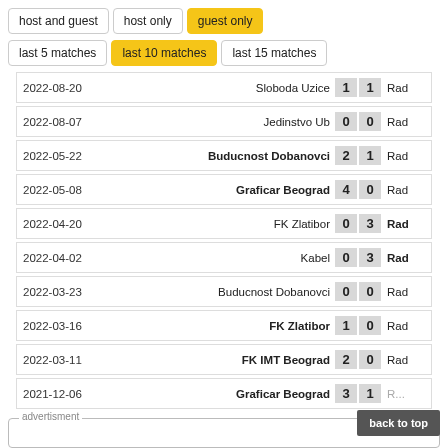host and guest | host only | guest only (buttons)
last 5 matches | last 10 matches | last 15 matches (buttons)
| Date | Home Team | H | A | Away Team |
| --- | --- | --- | --- | --- |
| 2022-08-20 | Sloboda Uzice | 1 | 1 | Rad |
| 2022-08-07 | Jedinstvo Ub | 0 | 0 | Rad |
| 2022-05-22 | Buducnost Dobanovci | 2 | 1 | Rad |
| 2022-05-08 | Graficar Beograd | 4 | 0 | Rad |
| 2022-04-20 | FK Zlatibor | 0 | 3 | Rad |
| 2022-04-02 | Kabel | 0 | 3 | Rad |
| 2022-03-23 | Buducnost Dobanovci | 0 | 0 | Rad |
| 2022-03-16 | FK Zlatibor | 1 | 0 | Rad |
| 2022-03-11 | FK IMT Beograd | 2 | 0 | Rad |
| 2021-12-06 | Graficar Beograd | 3 | 1 | Rad |
advertisment
back to top